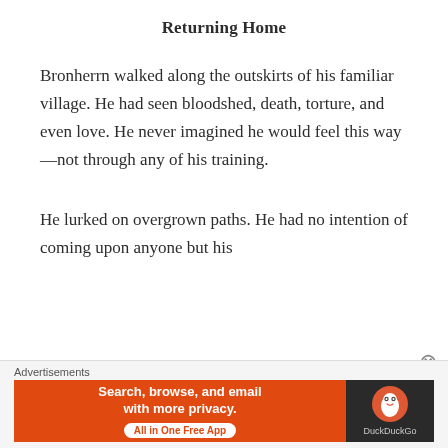Returning Home
Bronherrn walked along the outskirts of his familiar village. He had seen bloodshed, death, torture, and even love. He never imagined he would feel this way—not through any of his training.
He lurked on overgrown paths. He had no intention of coming upon anyone but his
[Figure (other): DuckDuckGo advertisement banner: orange section with text 'Search, browse, and email with more privacy. All in One Free App' and dark section with DuckDuckGo logo duck icon and 'DuckDuckGo' text. Above banner: 'Advertisements' label. Close button (X) to the right.]